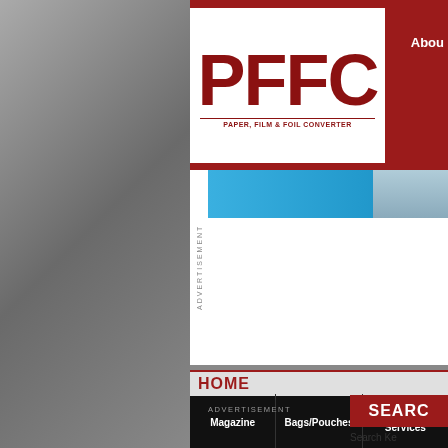[Figure (logo): PFFC Paper Film & Foil Converter logo - white box with red letters PFFC and subtitle text]
Abou
[Figure (screenshot): Blue advertisement banner with industrial equipment visible on the right]
ADVERTISEMENT
HOME
Magazine
Bags/Pouches
Contract Services
ADVERTISEMENT
[Figure (screenshot): SEARCH red button/header]
Search Ke
Total: 730
Search fo